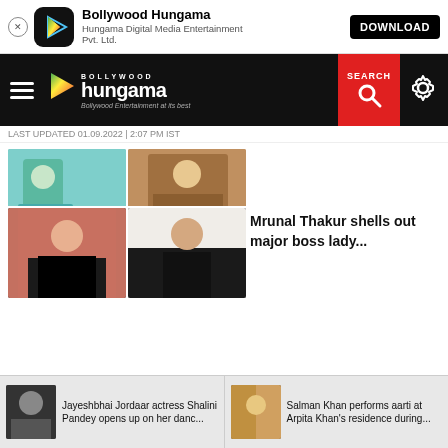[Figure (screenshot): App store banner for Bollywood Hungama app with close button, app icon, name, subtitle, and download button]
[Figure (screenshot): Bollywood Hungama website navigation bar with hamburger menu, logo, search button, and settings icon]
LAST UPDATED 01.09.2022 | 2:07 PM IST
[Figure (photo): Two celebrity photos side by side - article thumbnail images]
[Figure (photo): Two photos of Mrunal Thakur in black tuxedo suits]
Mrunal Thakur shells out major boss lady...
[Figure (photo): Thumbnail of Shalini Pandey for Jayeshbhai Jordaar article]
Jayeshbhai Jordaar actress Shalini Pandey opens up on her danc...
[Figure (photo): Thumbnail of Salman Khan performing aarti at Arpita Khan's residence]
Salman Khan performs aarti at Arpita Khan's residence during...